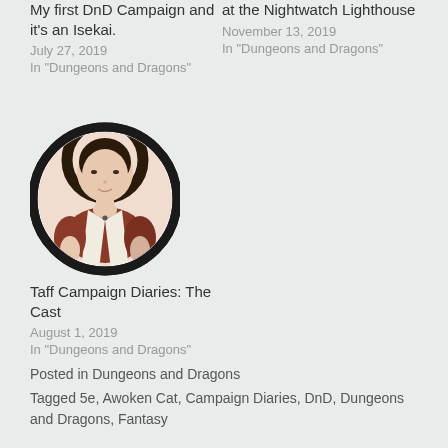My first DnD Campaign and it's an Isekai.
July 27, 2019
In "Dungeons and Dragons"
at the Nightwatch Lighthouse
November 13, 2019
In "Dungeons and Dragons"
[Figure (illustration): Circular avatar illustration of a character wearing brown outfit with white apron/straps, light skin, short hair, against a white background with black circular border]
Taff Campaign Diaries: The Cast
August 1, 2019
In "Dungeons and Dragons"
Posted in Dungeons and Dragons
Tagged 5e, Awoken Cat, Campaign Diaries, DnD, Dungeons and Dragons, Fantasy